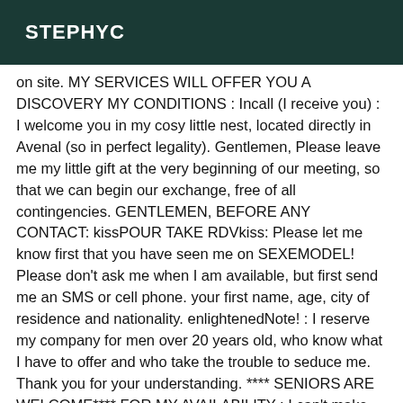STEPHYC
on site. MY SERVICES WILL OFFER YOU A DISCOVERY MY CONDITIONS : Incall (I receive you) : I welcome you in my cosy little nest, located directly in Avenal (so in perfect legality). Gentlemen, Please leave me my little gift at the very beginning of our meeting, so that we can begin our exchange, free of all contingencies. GENTLEMEN, BEFORE ANY CONTACT: kissPOUR TAKE RDVkiss: Please let me know first that you have seen me on SEXEMODEL! Please don't ask me when I am available, but first send me an SMS or cell phone. your first name, age, city of residence and nationality. enlightenedNote! : I reserve my company for men over 20 years old, who know what I have to offer and who take the trouble to seduce me. Thank you for your understanding. **** SENIORS ARE WELCOME**** FOR MY AVAILABILITY : I can't make last-minute appointments. Please contact me at least 30 Minutes in advance. MESSAGE TO MY SISTERS : THANK YOU